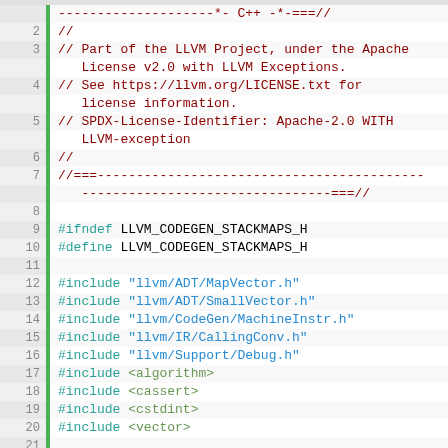Code view of StackMaps.h LLVM source file, lines 1-31
1: //--------------------*- C++ -*-===//
2: //
3: // Part of the LLVM Project, under the Apache License v2.0 with LLVM Exceptions.
4: // See https://llvm.org/LICENSE.txt for license information.
5: // SPDX-License-Identifier: Apache-2.0 WITH LLVM-exception
6: //
7: //===---...---===//
8: (blank)
9: #ifndef LLVM_CODEGEN_STACKMAPS_H
10: #define LLVM_CODEGEN_STACKMAPS_H
11: (blank)
12: #include "llvm/ADT/MapVector.h"
13: #include "llvm/ADT/SmallVector.h"
14: #include "llvm/CodeGen/MachineInstr.h"
15: #include "llvm/IR/CallingConv.h"
16: #include "llvm/Support/Debug.h"
17: #include <algorithm>
18: #include <cassert>
19: #include <cstdint>
20: #include <vector>
21: (blank)
22: namespace llvm {
23: (blank)
24: class AsmPrinter;
25: class MCSymbol;
26: class MCExpr;
27: class MCStreamer;
28: class raw_ostream;
29: class TargetRegisterInfo;
30: (blank)
31: /// MT-level stackmap operands...